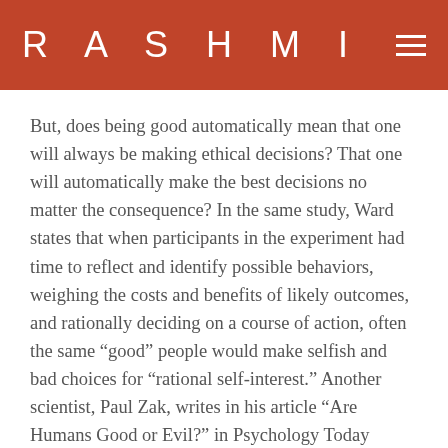RASHMI
But, does being good automatically mean that one will always be making ethical decisions? That one will automatically make the best decisions no matter the consequence? In the same study, Ward states that when participants in the experiment had time to reflect and identify possible behaviors, weighing the costs and benefits of likely outcomes, and rationally deciding on a course of action, often the same “good” people would make selfish and bad choices for “rational self-interest.” Another scientist, Paul Zak, writes in his article “Are Humans Good or Evil?” in Psychology Today (2011) about Adam Smith’s book The Theory of Moral Sentiments published in 1759. “Smith was the first to clearly make the case that it is our social nature that motivates human virtue and is the reason why we vilify vice,” writes Zak. Zak’s team found that